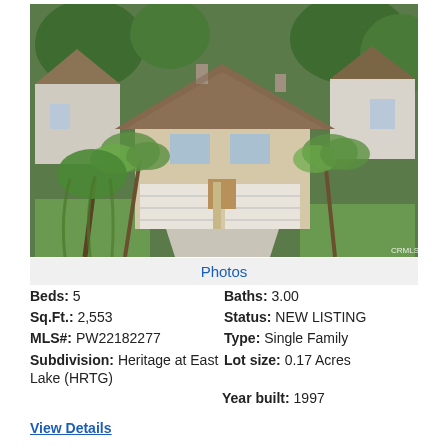[Figure (photo): Aerial drone photo of a two-story single-family home with brown tile roof, white stucco exterior, two-car garage, palm trees, and green landscaping in a suburban neighborhood]
Photos
Beds: 5   Baths: 3.00
Sq.Ft.: 2,553   Status: NEW LISTING
MLS#: PW22182277   Type: Single Family
Subdivision: Heritage at East Lake (HRTG)   Lot size: 0.17 Acres
Year built: 1997
View Details